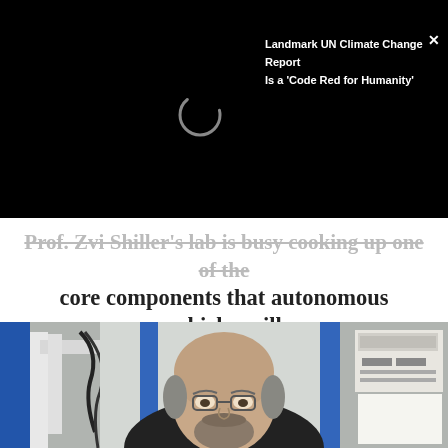[Figure (photo): Black overlay/ad banner at top with a loading spinner circle and a promotional text overlay for 'Landmark UN Climate Change Report Is a Code Red for Humanity' with a close button]
Prof. Zvi Shiller's lab is busy cooking up one of the core components that autonomous vehicles will need to keep you safe on the road.
By Abigail Klein Leichman | FEBRUARY 5, 2015, 6:00 AM
[Figure (photo): A middle-aged bald man with glasses and a beard wearing a dark jacket, seated in front of laboratory equipment including a white robotic arm and electrical panels]